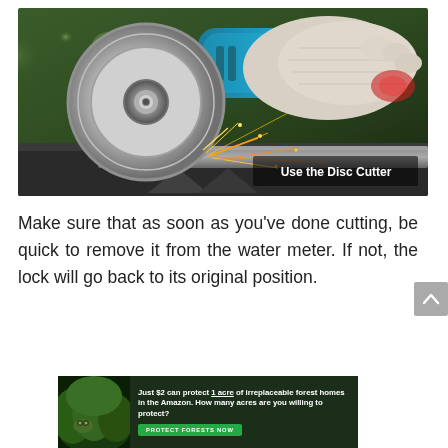[Figure (photo): Close-up photo of a person wearing a white glove using a disc cutter (angle grinder) to cut metal, with sparks flying. Text overlay reads 'Use the Disc Cutter'.]
Make sure that as soon as you've done cutting, be quick to remove it from the water meter. If not, the lock will go back to its original position.
[Figure (photo): Advertisement banner with dark green background showing rainforest imagery. Text reads: 'Just $2 can protect 1 acre of irreplaceable forest homes in the Amazon. How many acres are you willing to protect?' with a green 'PROTECT FORESTS NOW' button.]